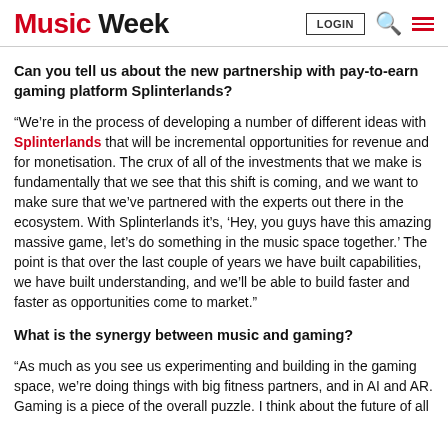Music Week | LOGIN | Search | Menu
Can you tell us about the new partnership with pay-to-earn gaming platform Splinterlands?
“We’re in the process of developing a number of different ideas with Splinterlands that will be incremental opportunities for revenue and for monetisation. The crux of all of the investments that we make is fundamentally that we see that this shift is coming, and we want to make sure that we’ve partnered with the experts out there in the ecosystem. With Splinterlands it’s, ‘Hey, you guys have this amazing massive game, let’s do something in the music space together.’ The point is that over the last couple of years we have built capabilities, we have built understanding, and we’ll be able to build faster and faster as opportunities come to market.”
What is the synergy between music and gaming?
“As much as you see us experimenting and building in the gaming space, we’re doing things with big fitness partners, and in AI and AR. Gaming is a piece of the overall puzzle. I think about the future of all